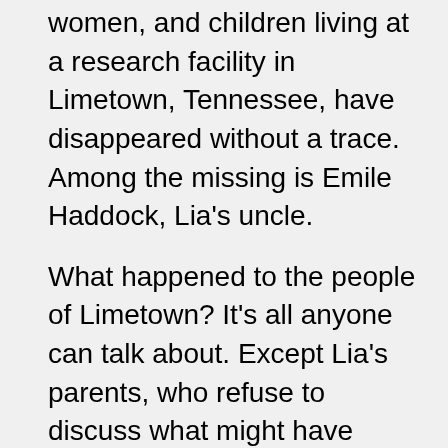women, and children living at a research facility in Limetown, Tennessee, have disappeared without a trace. Among the missing is Emile Haddock, Lia's uncle.
What happened to the people of Limetown? It's all anyone can talk about. Except Lia's parents, who refuse to discuss what might have happened there. They refuse, even, to discuss anything to do with Emile.
As a student journalist, Lia begins an investigation that will take her far from her home, discovering clues about Emile's past that lead to a shocking secret--one with unimaginable implications not only for the